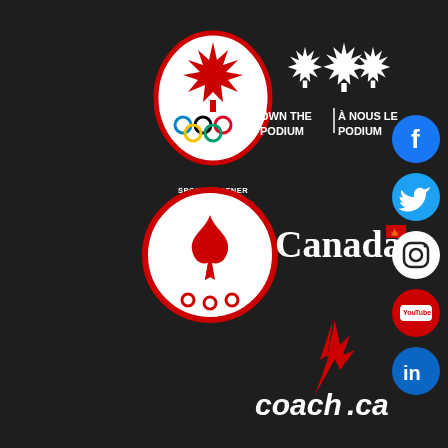[Figure (logo): Canadian Olympic Committee logo - red maple leaf in oval with Olympic rings, text SPORT PARTNER / PARTENAIRE SPORTIF]
[Figure (logo): Own the Podium / À nous le podium logo - three maple leaves, bilingual text]
[Figure (logo): Canadian Paralympic Committee logo - red flame and maple leaf in circular emblem]
[Figure (logo): Government of Canada / Canada wordmark logo with maple leaf flag]
[Figure (logo): coach.ca logo with red lightning bolt/maple leaf graphic]
[Figure (logo): Facebook social media icon - blue circle with white f]
[Figure (logo): Twitter social media icon - blue circle with white bird]
[Figure (logo): Instagram social media icon - white circle with camera outline]
[Figure (logo): YouTube social media icon - red circle with YouTube logo]
[Figure (logo): LinkedIn social media icon - blue circle with white in text]